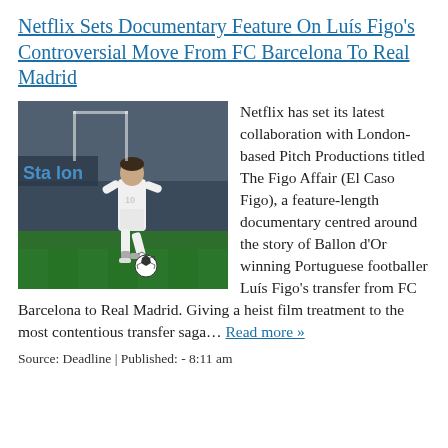Netflix Sets Documentary Feature On Luís Figo's Controversial Move From FC Barcelona To Real Madrid
[Figure (photo): Luís Figo in a white Real Madrid kit dribbling a soccer ball on a grass pitch, with a stadium crowd in background]
Netflix has set its latest collaboration with London-based Pitch Productions titled The Figo Affair (El Caso Figo), a feature-length documentary centred around the story of Ballon d'Or winning Portuguese footballer Luís Figo's transfer from FC Barcelona to Real Madrid. Giving a heist film treatment to the most contentious transfer saga… Read more »
Source: Deadline | Published: - 8:11 am